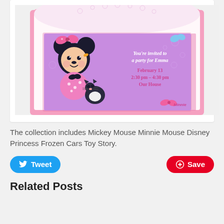[Figure (illustration): A Minnie Mouse birthday party invitation card. Purple card with Minnie Mouse character and a cat. Text: 'You're invited to a party for Emma, February 13, 2:30 pm - 4:30 pm, Our House'. Pink envelope background with bow patterns.]
The collection includes Mickey Mouse Minnie Mouse Disney Princess Frozen Cars Toy Story.
Tweet
Save
Related Posts